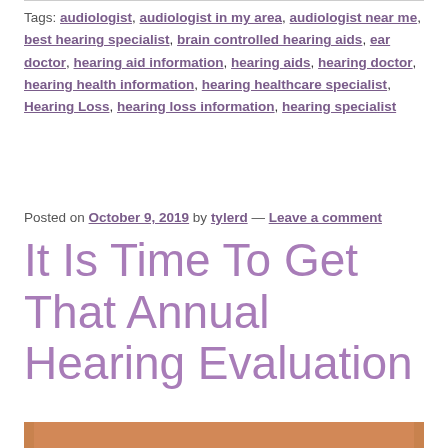Tags: audiologist, audiologist in my area, audiologist near me, best hearing specialist, brain controlled hearing aids, ear doctor, hearing aid information, hearing aids, hearing doctor, hearing health information, hearing healthcare specialist, Hearing Loss, hearing loss information, hearing specialist
Posted on October 9, 2019 by tylerd — Leave a comment
It Is Time To Get That Annual Hearing Evaluation
[Figure (photo): Partial view of a person with hearing-related imagery, warm orange background]